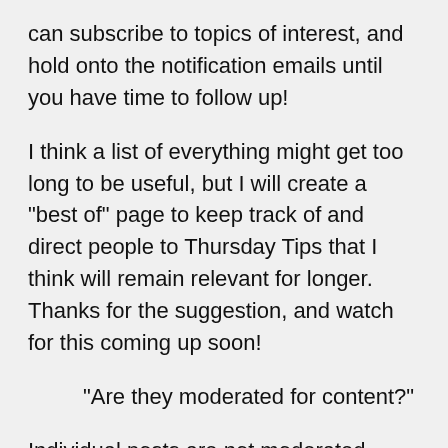can subscribe to topics of interest, and hold onto the notification emails until you have time to follow up!
I think a list of everything might get too long to be useful, but I will create a "best of" page to keep track of and direct people to Thursday Tips that I think will remain relevant for longer. Thanks for the suggestion, and watch for this coming up soon!
"Are they moderated for content?"
Individual posts are not moderated--they go up right away. That said, we do moderate user accounts (only people who are confirmed KLAS